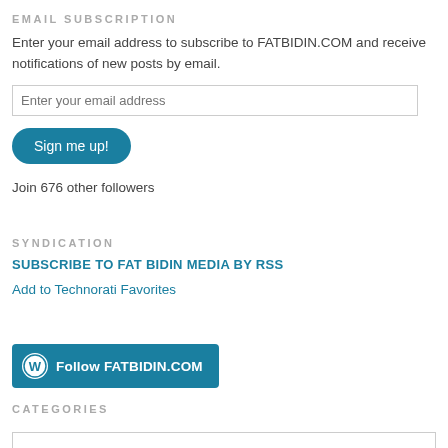EMAIL SUBSCRIPTION
Enter your email address to subscribe to FATBIDIN.COM and receive notifications of new posts by email.
Enter your email address
Sign me up!
Join 676 other followers
SYNDICATION
SUBSCRIBE TO FAT BIDIN MEDIA BY RSS
Add to Technorati Favorites
[Figure (other): Follow FATBIDIN.COM WordPress follow button]
CATEGORIES